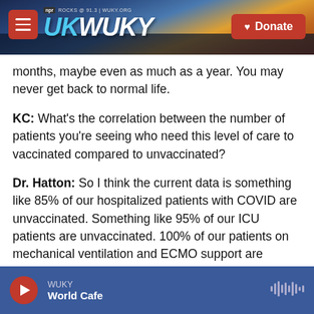[Figure (screenshot): WUKY NPR radio station website header banner with landscape photo, WUKY logo, hamburger menu, and Donate button]
months, maybe even as much as a year. You may never get back to normal life.
KC: What's the correlation between the number of patients you're seeing who need this level of care to vaccinated compared to unvaccinated?
Dr. Hatton: So I think the current data is something like 85% of our hospitalized patients with COVID are unvaccinated. Something like 95% of our ICU patients are unvaccinated. 100% of our patients on mechanical ventilation and ECMO support are unvaccinated. The correlation is very clear, very
WUKY | World Cafe